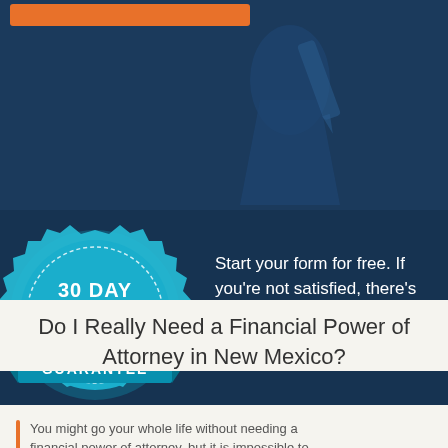[Figure (illustration): Dark blue hero section with a faint silhouette figure and an orange button bar at the top]
[Figure (illustration): 30 Day Money Back Guarantee badge in teal/blue with white text and three stars]
Start your form for free. If you're not satisfied, there's no obligation to buy.
Do I Really Need a Financial Power of Attorney in New Mexico?
You might go your whole life without needing a financial power of attorney, but it is impossible to...